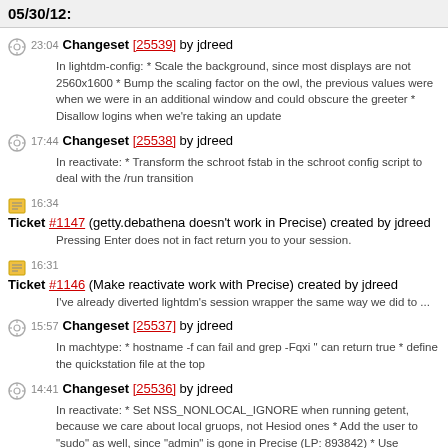05/30/12:
23:04 Changeset [25539] by jdreed
In lightdm-config: * Scale the background, since most displays are not 2560x1600 * Bump the scaling factor on the owl, the previous values were when we were in an additional window and could obscure the greeter * Disallow logins when we're taking an update
17:44 Changeset [25538] by jdreed
In reactivate: * Transform the schroot fstab in the schroot config script to deal with the /run transition
16:34 Ticket #1147 (getty.debathena doesn't work in Precise) created by jdreed
Pressing Enter does not in fact return you to your session.
16:31 Ticket #1146 (Make reactivate work with Precise) created by jdreed
I've already diverted lightdm's session wrapper the same way we did to ...
15:57 Changeset [25537] by jdreed
In machtype: * hostname -f can fail and grep -Fqxi " can return true * define the quickstation file at the top
14:41 Changeset [25536] by jdreed
In reactivate: * Set NSS_NONLOCAL_IGNORE when running getent, because we care about local gruops, not Hesiod ones * Add the user to "sudo" as well, since "admin" is gone in Precise (LP: 893842) * Use